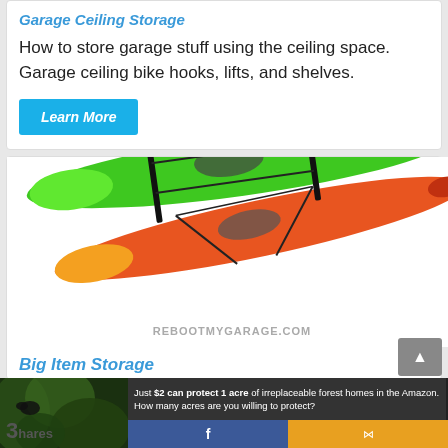Garage Ceiling Storage
How to store garage stuff using the ceiling space. Garage ceiling bike hooks, lifts, and shelves.
Learn More
[Figure (photo): Two kayaks (green and red/orange) stacked on a ceiling storage rack. Watermark text: REBOOTMYGARAGE.COM]
Big Item Storage
Just $2 can protect 1 acre of irreplaceable forest homes in the Amazon. How many acres are you willing to protect?
3 Shares